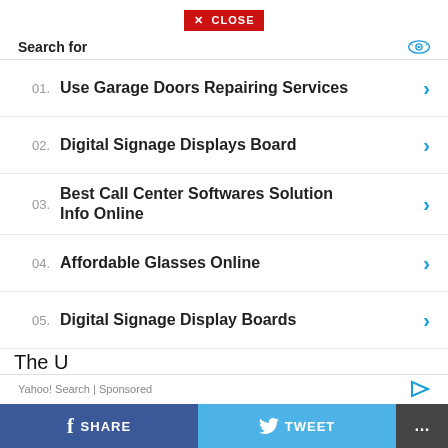[Figure (screenshot): Red CLOSE button with X icon]
Search for
01. Use Garage Doors Repairing Services
02. Digital Signage Displays Board
03. Best Call Center Softwares Solution Info Online
04. Affordable Glasses Online
05. Digital Signage Display Boards
The U
Yahoo! Search | Sponsored
reconnaissance collection in the Yellow Sea and heightened its ballistic missile defence readiness after a "significant increase" in North Korea missile testing
SHARE   TWEET   ...